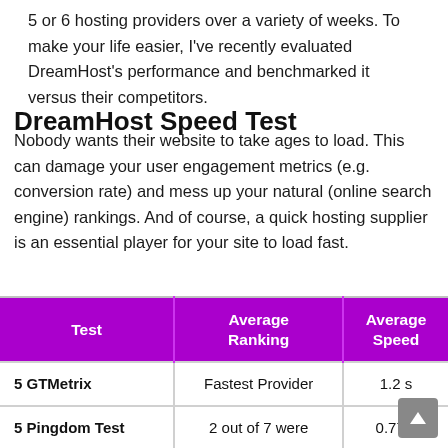5 or 6 hosting providers over a variety of weeks. To make your life easier, I've recently evaluated DreamHost's performance and benchmarked it versus their competitors.
DreamHost Speed Test
Nobody wants their website to take ages to load. This can damage your user engagement metrics (e.g. conversion rate) and mess up your natural (online search engine) rankings. And of course, a quick hosting supplier is an essential player for your site to load fast.
| Test | Average Ranking | Average Speed |
| --- | --- | --- |
| 5 GTMetrix | Fastest Provider | 1.2 s |
| 5 Pingdom Test | 2 out of 7 were | 0.77 s |